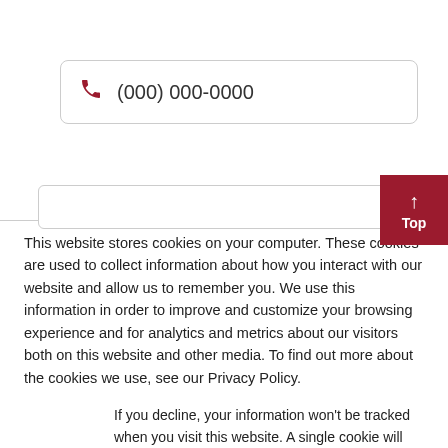[Figure (screenshot): A phone input field with a dark red phone icon and placeholder text '(000) 000-0000', followed by a partially visible second input field. A dark red 'Top' button with an upward arrow is visible at the right edge.]
This website stores cookies on your computer. These cookies are used to collect information about how you interact with our website and allow us to remember you. We use this information in order to improve and customize your browsing experience and for analytics and metrics about our visitors both on this website and other media. To find out more about the cookies we use, see our Privacy Policy.
If you decline, your information won't be tracked when you visit this website. A single cookie will be used in your browser to remember your preference not to be tracked.
Accept
Decline